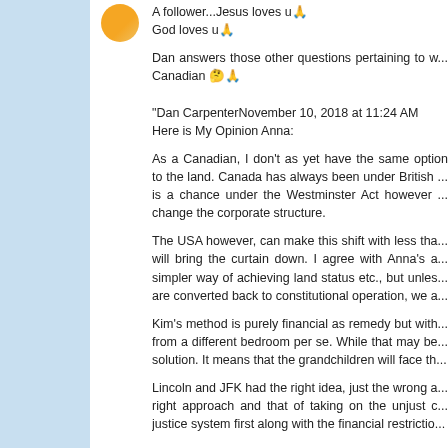A follower...Jesus loves u
God loves u
Dan answers those other questions pertaining to w... Canadian 🤔
"Dan CarpenterNovember 10, 2018 at 11:24 AM
Here is My Opinion Anna:

As a Canadian, I don't as yet have the same option to the land. Canada has always been under British ... is a chance under the Westminster Act however ... change the corporate structure.

The USA however, can make this shift with less tha... will bring the curtain down. I agree with Anna's a... simpler way of achieving land status etc., but unless... are converted back to constitutional operation, we a...

Kim's method is purely financial as remedy but with... from a different bedroom per se. While that may be... solution. It means that the grandchildren will face th...

Lincoln and JFK had the right idea, just the wrong a... right approach and that of taking on the unjust c... justice system first along with the financial restrictio...